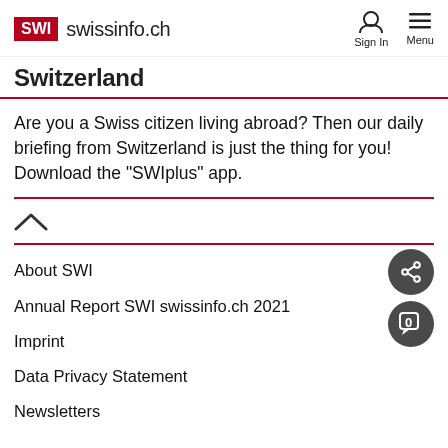SWI swissinfo.ch | Sign In | Menu
Switzerland
Are you a Swiss citizen living abroad? Then our daily briefing from Switzerland is just the thing for you! Download the "SWIplus" app.
About SWI
Annual Report SWI swissinfo.ch 2021
Imprint
Data Privacy Statement
Newsletters